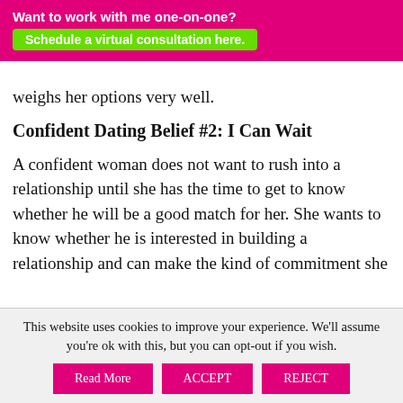Want to work with me one-on-one? Schedule a virtual consultation here.
weighs her options very well.
Confident Dating Belief #2: I Can Wait
A confident woman does not want to rush into a relationship until she has the time to get to know whether he will be a good match for her. She wants to know whether he is interested in building a relationship and can make the kind of commitment she wants. She needs to know whether they will have the kind of relationship that she wants.
This website uses cookies to improve your experience. We'll assume you're ok with this, but you can opt-out if you wish.
Read More   ACCEPT   REJECT